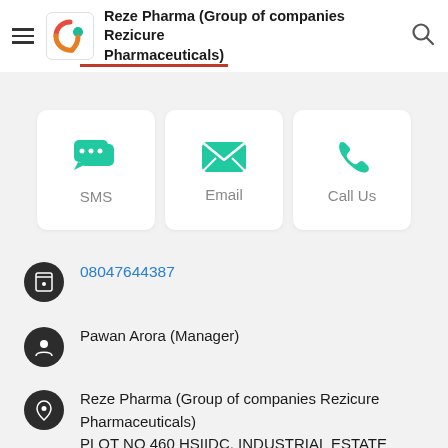Reze Pharma (Group of companies Rezicure Pharmaceuticals)
[Figure (infographic): Three contact option cards: SMS (chat bubble icon), Email (envelope icon), Call Us (phone icon), each with teal icons on white rounded cards]
08047644387
Pawan Arora (Manager)
Reze Pharma (Group of companies Rezicure Pharmaceuticals) PLOT NO 460 HSIIDC, INDUSTRIAL ESTATE PHASE 1, Motor Market, Panchkula - 134113,